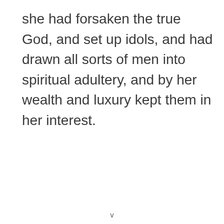she had forsaken the true God, and set up idols, and had drawn all sorts of men into spiritual adultery, and by her wealth and luxury kept them in her interest.
v